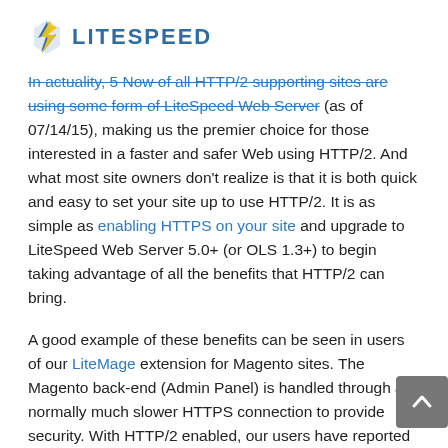LITESPEED
In actuality, 5 Now of all HTTP/2 supporting sites are using some form of LiteSpeed Web Server (as of 07/14/15), making us the premier choice for those interested in a faster and safer Web using HTTP/2. And what most site owners don't realize is that it is both quick and easy to set your site up to use HTTP/2. It is as simple as enabling HTTPS on your site and upgrade to LiteSpeed Web Server 5.0+ (or OLS 1.3+) to begin taking advantage of all the benefits that HTTP/2 can bring.
A good example of these benefits can be seen in users of our LiteMage extension for Magento sites. The Magento back-end (Admin Panel) is handled through a normally much slower HTTPS connection to provide security. With HTTP/2 enabled, our users have reported a noticeable